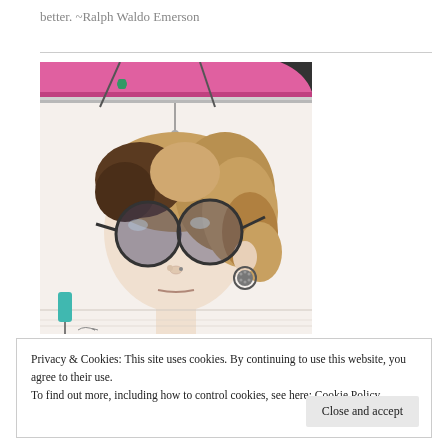better. ~Ralph Waldo Emerson
[Figure (illustration): Pencil/colored-pencil drawing of a woman with curly blonde-brown hair and large round sunglasses, wearing a circular earring, seen from below against a pink canopy or umbrella structure. A teal object is visible in the lower left.]
Privacy & Cookies: This site uses cookies. By continuing to use this website, you agree to their use.
To find out more, including how to control cookies, see here: Cookie Policy
Close and accept